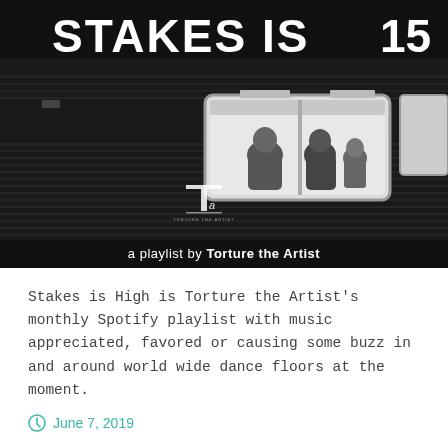[Figure (photo): Black and white photo of a subway/metro train at night. Large white text 'STAKES IS' at top left and '15' at top right. Subway car window shows passengers sitting inside. A stylized logo/monogram is centered in the lower portion of the dark train body. Below the image, text reads 'a playlist by Torture the Artist'.]
Stakes is High is Torture the Artist's monthly Spotify playlist with music appreciated, favored or causing some buzz in and around world wide dance floors at the moment.
June 7, 2019